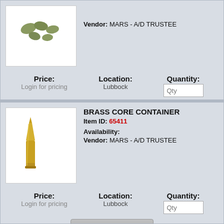Vendor: MARS - A/D TRUSTEE
Price: Login for pricing
Location: Lubbock
Quantity: Qty
Add to RFQ
BRASS CORE CONTAINER
Item ID: 65411
Availability:
Vendor: MARS - A/D TRUSTEE
Price: Login for pricing
Location: Lubbock
Quantity: Qty
Add to RFQ